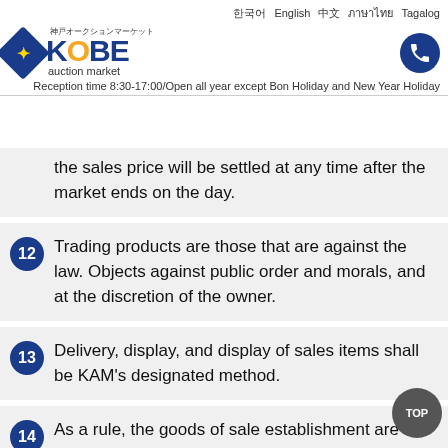神戸オークションマーケット KOBE auction market | Reception time 8:30-17:00/Open all year except Bon Holiday and New Year Holiday
the sales price will be settled at any time after the market ends on the day.
12 Trading products are those that are against the law. Objects against public order and morals, and at the discretion of the owner.
13 Delivery, display, and display of sales items shall be KAM's designated method.
14 As a rule, the goods of sale establishment are things of the day out. If it is difficult on the day, take it out within 3 days after confirming the agreement.